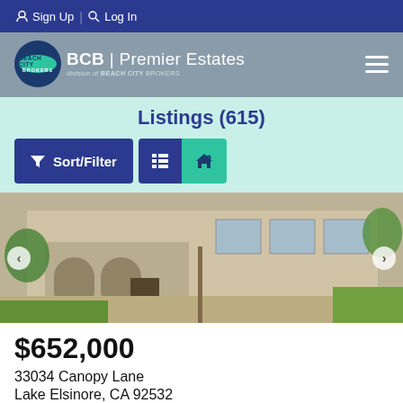Sign Up  Log In
[Figure (logo): Beach City Brokers logo with teal oval and dark blue circle, with BCB | Premier Estates text]
Listings (615)
Sort/Filter  [list view] [map view]
[Figure (photo): Exterior photo of a two-story stucco home with arched entryway, multiple windows, and green lawn]
$652,000
33034 Canopy Lane
Lake Elsinore, CA 92532